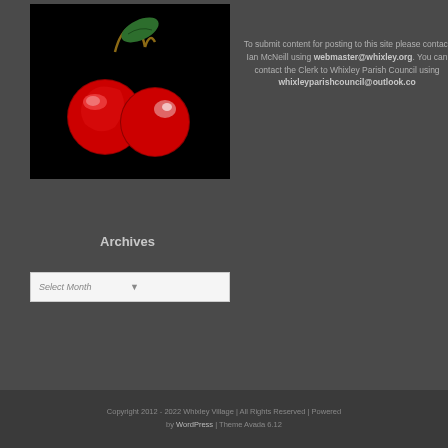[Figure (illustration): Two red cherries with green leaf and brown stem on black background]
To submit content for posting to this site please contact Ian McNeill using webmaster@whixley.org. You can contact the Clerk to Whixley Parish Council using whixleyparishcouncil@outlook.co
Archives
Select Month
Copyright 2012 - 2022 Whixley Village | All Rights Reserved | Powered by WordPress | Theme Avada 6.12